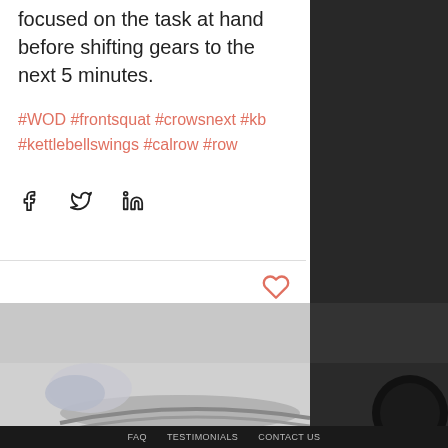focused on the task at hand before shifting gears to the next 5 minutes.
#WOD #frontsquat #crowsnext #kb #kettlebellswings #calrow #row
[Figure (other): Social share icons: Facebook, Twitter, LinkedIn]
[Figure (photo): Bottom split image: left side shows a person's feet near a rowing machine on a light gray floor; right side shows dark gym equipment (barbell weight).]
FAQ   TESTIMONIALS   CONTACT US